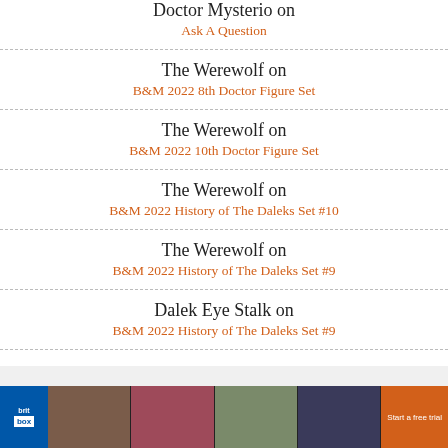Doctor Mysterio on
Ask A Question
The Werewolf on
B&M 2022 8th Doctor Figure Set
The Werewolf on
B&M 2022 10th Doctor Figure Set
The Werewolf on
B&M 2022 History of The Daleks Set #10
The Werewolf on
B&M 2022 History of The Daleks Set #9
Dalek Eye Stalk on
B&M 2022 History of The Daleks Set #9
[Figure (screenshot): BritBox advertisement banner at the bottom showing the BritBox logo and TV show thumbnails with a 'Start a free trial' call-to-action button]